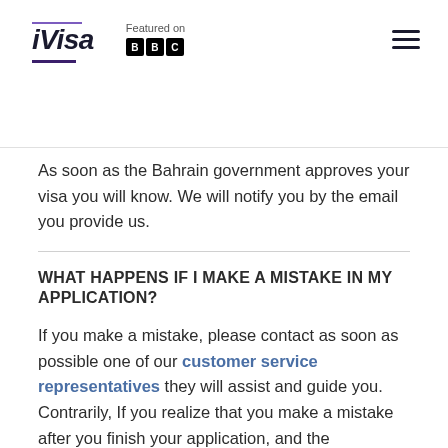iVisa — Featured on BBC
As soon as the Bahrain government approves your visa you will know. We will notify you by the email you provide us.
WHAT HAPPENS IF I MAKE A MISTAKE IN MY APPLICATION?
If you make a mistake, please contact as soon as possible one of our customer service representatives they will assist and guide you. Contrarily, If you realize that you make a mistake after you finish your application, and the government approved and issued your visa. You will have to apply again. This is because your Bahrain eVisa once is approved is linked to your passport number. So imagine, having an approved evisa with